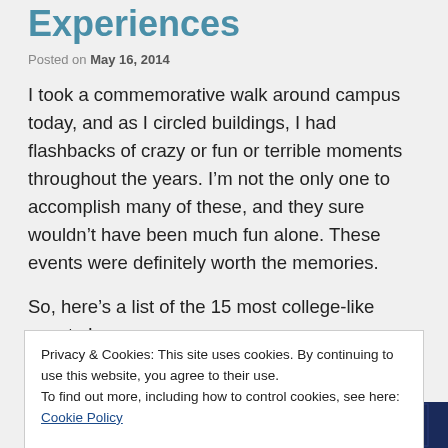Experiences
Posted on May 16, 2014
I took a commemorative walk around campus today, and as I circled buildings, I had flashbacks of crazy or fun or terrible moments throughout the years. I’m not the only one to accomplish many of these, and they sure wouldn’t have been much fun alone. These events were definitely worth the memories.
So, here’s a list of the 15 most college-like events I
Privacy & Cookies: This site uses cookies. By continuing to use this website, you agree to their use.
To find out more, including how to control cookies, see here: Cookie Policy
Close and accept
the night
[Figure (other): Bottom banner image with dark navy blue letter/logo tiles]